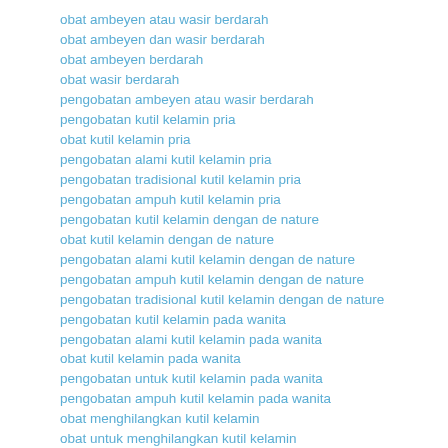obat ambeyen atau wasir berdarah
obat ambeyen dan wasir berdarah
obat ambeyen berdarah
obat wasir berdarah
pengobatan ambeyen atau wasir berdarah
pengobatan kutil kelamin pria
obat kutil kelamin pria
pengobatan alami kutil kelamin pria
pengobatan tradisional kutil kelamin pria
pengobatan ampuh kutil kelamin pria
pengobatan kutil kelamin dengan de nature
obat kutil kelamin dengan de nature
pengobatan alami kutil kelamin dengan de nature
pengobatan ampuh kutil kelamin dengan de nature
pengobatan tradisional kutil kelamin dengan de nature
pengobatan kutil kelamin pada wanita
pengobatan alami kutil kelamin pada wanita
obat kutil kelamin pada wanita
pengobatan untuk kutil kelamin pada wanita
pengobatan ampuh kutil kelamin pada wanita
obat menghilangkan kutil kelamin
obat untuk menghilangkan kutil kelamin